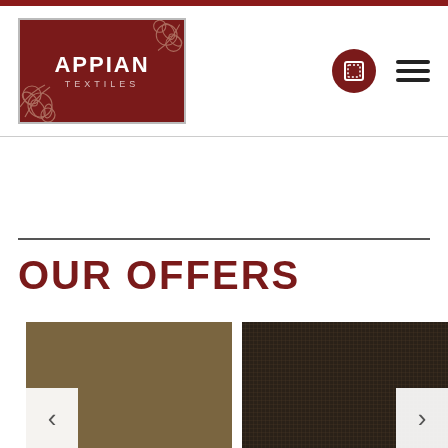[Figure (logo): Appian Textiles logo — dark red background with white floral decorations, bold white text 'APPIAN' and smaller text 'TEXTILES']
[Figure (other): Navigation icons: dark red circle with white square icon, and a hamburger menu (three horizontal lines)]
OUR OFFERS
[Figure (photo): Brown/khaki fabric texture swatch (left product image) with left navigation arrow overlay]
[Figure (photo): Dark brown woven fabric texture swatch (right product image) with right navigation arrow overlay]